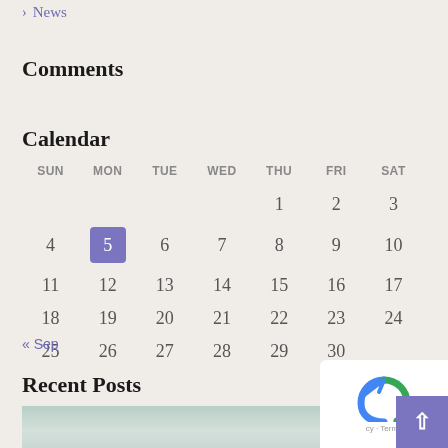> News
Comments
Calendar
| SUN | MON | TUE | WED | THU | FRI | SAT |
| --- | --- | --- | --- | --- | --- | --- |
|  |  |  |  | 1 | 2 | 3 |
| 4 | 5 | 6 | 7 | 8 | 9 | 10 |
| 11 | 12 | 13 | 14 | 15 | 16 | 17 |
| 18 | 19 | 20 | 21 | 22 | 23 | 24 |
| 25 | 26 | 27 | 28 | 29 | 30 |  |
« Sep
Recent Posts